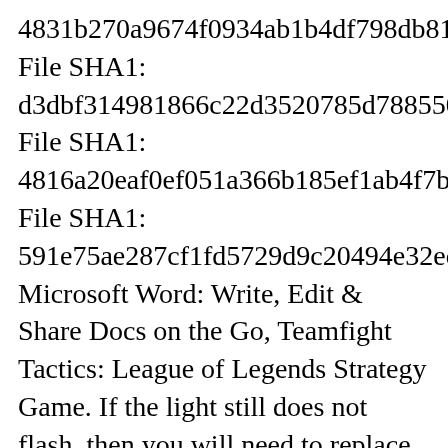4831b270a9674f0934ab1b4df798db81ae39e707, File SHA1: d3dbf314981866c22d3520785d78855079a2b58f, File SHA1: 4816a20eaf0ef051a366b185ef1ab4f7b0c06b39, File SHA1: 591e75ae287cf1fd5729d9c20494e32ec06d91c1, Microsoft Word: Write, Edit & Share Docs on the Go, Teamfight Tactics: League of Legends Strategy Game. If the light still does not flash, then you will need to replace your batteries. Disclaimer: We are not official representatives of TCL Roku Company. Find low everyday prices and buy online for delivery or in-store pick-up Press and hold the pairing button for three (3) seconds or until the pairing light